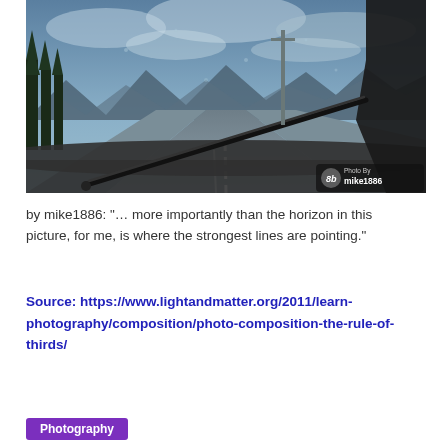[Figure (photo): View from inside a car through the windshield on a rainy day. A windshield wiper is visible sweeping across. The road ahead shows lane markings with trees and mountains in the background under a cloudy sky. A watermark in the bottom-right reads 'Photo By mike1886'.]
by mike1886: "… more importantly than the horizon in this picture, for me, is where the strongest lines are pointing."
Source: https://www.lightandmatter.org/2011/learn-photography/composition/photo-composition-the-rule-of-thirds/
Photography